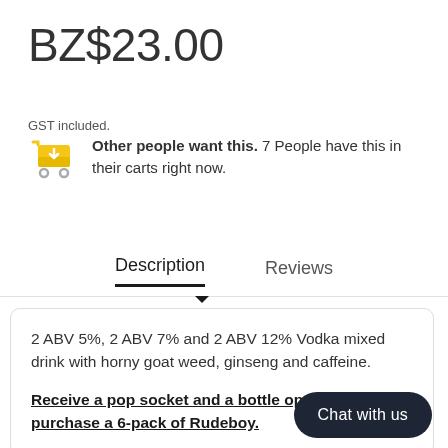BZ$23.00
GST included.
Other people want this. 7 People have this in their carts right now.
Description   Reviews
2 ABV 5%, 2 ABV 7% and 2 ABV 12% Vodka mixed drink with horny goat weed, ginseng and caffeine.
Receive a pop socket and a bottle opener when you purchase a 6-pack of Rudeboy.
Chat with us